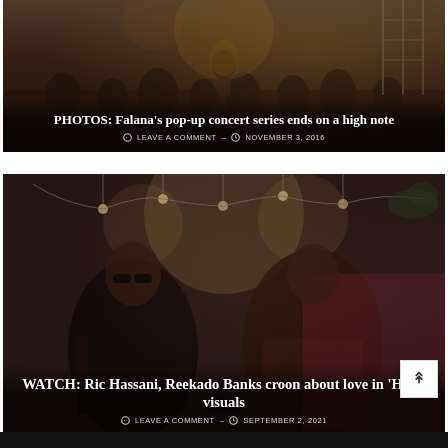[Figure (photo): Photo of a performer on stage at a concert with stage lighting and scaffolding, showing Falana's pop-up concert series]
PHOTOS: Falana's pop-up concert series ends on a high note
LEAVE A COMMENT – NOVEMBER 3, 2016
[Figure (photo): Photo of Ric Hassani and Reekado Banks seated in chairs in a warmly lit room with hanging bulbs and plants in background]
WATCH: Ric Hassani, Reekado Banks croon about love in 'Here' visuals
LEAVE A COMMENT – SEPTEMBER 2, 2021